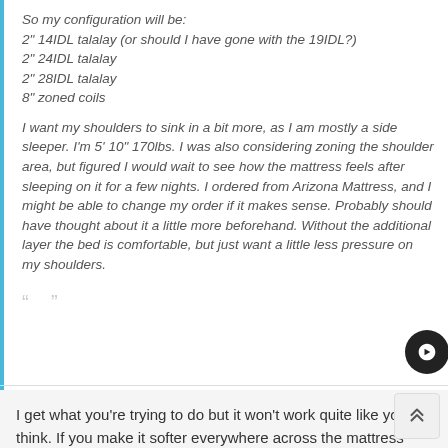So my configuration will be:
2" 14IDL talalay (or should I have gone with the 19IDL?)
2" 24IDL talalay
2" 28IDL talalay
8" zoned coils

I want my shoulders to sink in a bit more, as I am mostly a side sleeper. I'm 5' 10" 170lbs. I was also considering zoning the shoulder area, but figured I would wait to see how the mattress feels after sleeping on it for a few nights. I ordered from Arizona Mattress, and I might be able to change my order if it makes sense. Probably should have thought about it a little more beforehand. Without the additional layer the bed is comfortable, but just want a little less pressure on my shoulders.
I get what you're trying to do but it won't work quite like you think. If you make it softer everywhere across the mattress then your entire body will sink